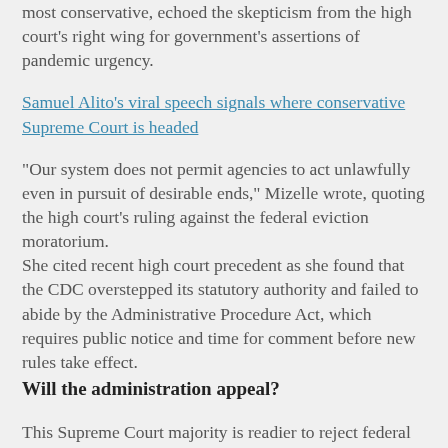most conservative, echoed the skepticism from the high court's right wing for government's assertions of pandemic urgency.
Samuel Alito's viral speech signals where conservative Supreme Court is headed
“Our system does not permit agencies to act unlawfully even in pursuit of desirable ends,” Mizelle wrote, quoting the high court's ruling against the federal eviction moratorium.
She cited recent high court precedent as she found that the CDC overstepped its statutory authority and failed to abide by the Administrative Procedure Act, which requires public notice and time for comment before new rules take effect.
Will the administration appeal?
This Supreme Court majority is readier to reject federal regulations across the board than predecessor courts. That pattern, and the sheer